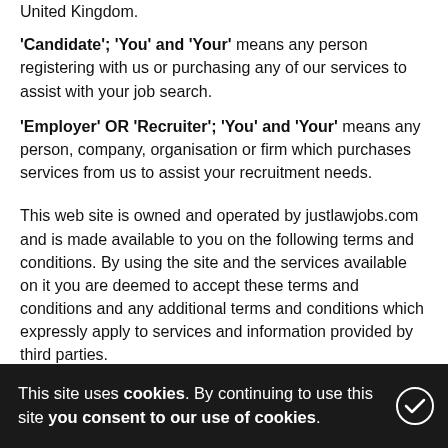United Kingdom.
'Candidate'; 'You' and 'Your' means any person registering with us or purchasing any of our services to assist with your job search.
'Employer' OR 'Recruiter'; 'You' and 'Your' means any person, company, organisation or firm which purchases services from us to assist your recruitment needs.
This web site is owned and operated by justlawjobs.com and is made available to you on the following terms and conditions. By using the site and the services available on it you are deemed to accept these terms and conditions and any additional terms and conditions which expressly apply to services and information provided by third parties.
General
1. Copyright and all other rights in all of the material on this site are owned
This site uses cookies. By continuing to use this site you consent to our use of cookies.